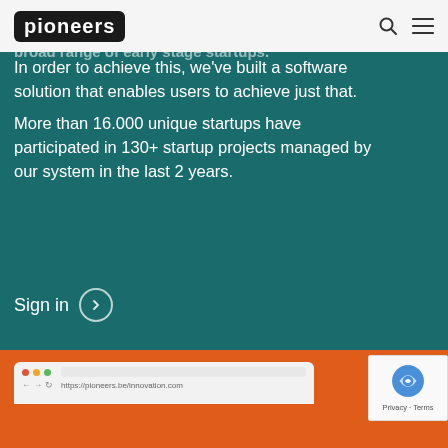Pioneers
partners and customers alike to their
broader and connect to a broad range of early stage startups.
In order to achieve this, we've built a software solution that enables users to achieve just that. More than 16.000 unique startups have participated in 130+ startup projects managed by our system in the last 2 years.
Sign in
[Figure (screenshot): Browser mockup showing a website interface at the bottom of the page]
[Figure (other): reCAPTCHA privacy badge with Privacy and Terms links]